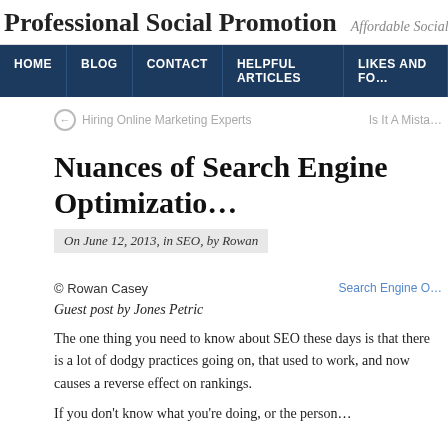Professional Social Promotion — Affordable Social Media Mark…
HOME | BLOG | CONTACT | HELPFUL ARTICLES | LIKES AND FO…
← Hiring Online Marketing Experts    Is It A Mista…
Nuances of Search Engine Optimizatio…
On June 12, 2013, in SEO, by Rowan
© Rowan Casey
Guest post by Jones Petric
[Figure (other): Search Engine Optimization image placeholder (broken image link visible as text)]
The one thing you need to know about SEO these days is that there is a lot of dodgy practices going on, that used to work, and now causes a reverse effect on rankings.
If you don't know what you're doing, or the person…